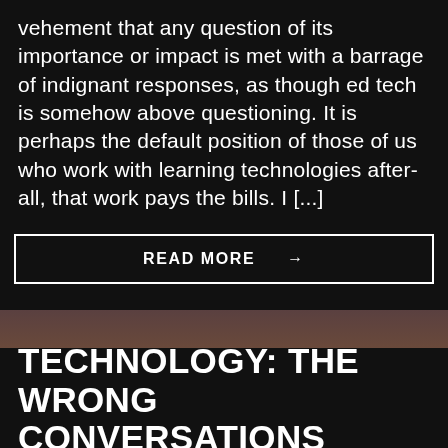vehement that any question of its importance or impact is met with a barrage of indignant responses, as though ed tech is somehow above questioning. It is perhaps the default position of those of us who work with learning technologies after-all, that work pays the bills. I [...]
READ MORE →
[Figure (photo): Dark blurred photo with brownish-red tones, appears to show hands or a person in soft focus]
TECHNOLOGY: THE WRONG CONVERSATIONS